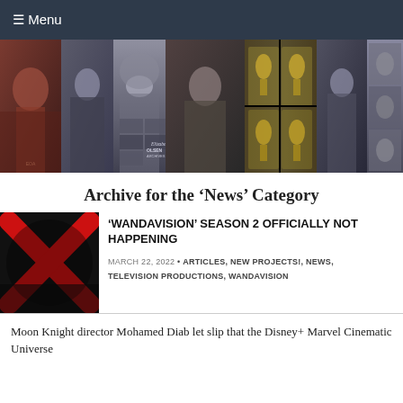≡ Menu
[Figure (photo): Collage of photos of Elizabeth Olsen in various outfits and settings, spanning the full width of the page as a banner]
Archive for the 'News' Category
[Figure (photo): Thumbnail image with red X mark on dark background related to WandaVision]
'WANDAVISION' SEASON 2 OFFICIALLY NOT HAPPENING
MARCH 22, 2022 · ARTICLES, NEW PROJECTS!, NEWS, TELEVISION PRODUCTIONS, WANDAVISION
Moon Knight director Mohamed Diab let slip that the Disney+ Marvel Cinematic Universe...